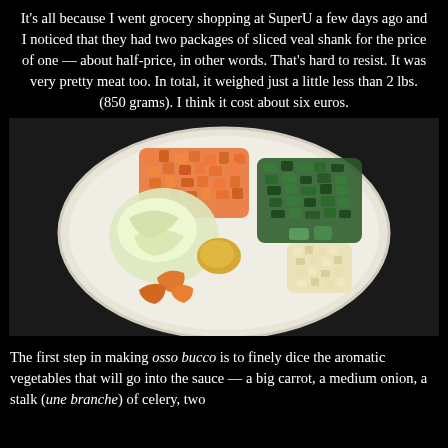It's all because I went grocery shopping at SuperU a few days ago and I noticed that they had two packages of sliced veal shank for the price of one — about half-price, in other words. That's hard to resist. It was very pretty meat too. In total, it weighed just a little less than 2 lbs. (850 grams). I think it cost about six euros.
[Figure (photo): A white plate with finely diced and chopped aromatic vegetables arranged in sections: diced carrots (orange), chopped dark green herbs (parsley), finely minced garlic or similar pale ingredient, orange lemon/citrus zest pieces at the bottom, chopped pale green celery, and chopped onion on the left side. The plate is on a beige/tan surface against a dark background.]
The first step in making osso bucco is to finely dice the aromatic vegetables that will go into the sauce — a big carrot, a medium onion, a stalk (une branche) of celery, two